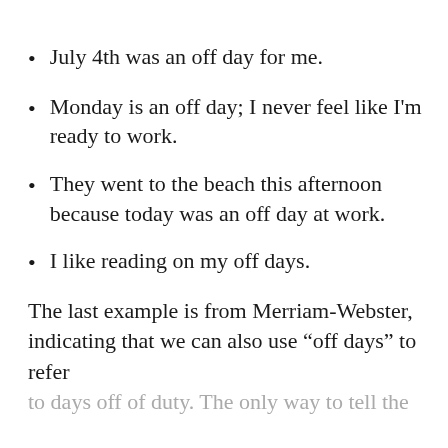July 4th was an off day for me.
Monday is an off day; I never feel like I’m ready to work.
They went to the beach this afternoon because today was an off day at work.
I like reading on my off days.
The last example is from Merriam-Webster, indicating that we can also use “off days” to refer to days off of duty. The only way to tell the